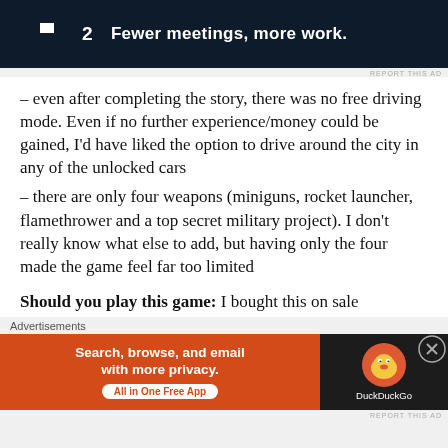[Figure (other): Advertisement banner for a productivity app. Dark navy background with white logo showing a play button icon and the number 2, with bold white text: 'Fewer meetings, more work.']
REPORT THIS AD
– even after completing the story, there was no free driving mode. Even if no further experience/money could be gained, I'd have liked the option to drive around the city in any of the unlocked cars
– there are only four weapons (miniguns, rocket launcher, flamethrower and a top secret military project). I don't really know what else to add, but having only the four made the game feel far too limited
Should you play this game: I bought this on sale
Advertisements
[Figure (other): DuckDuckGo advertisement. Left half: orange/red background with white bold text 'Search, browse, and email with more privacy.' and white pill button 'All in One Free App'. Right half: dark background with DuckDuckGo duck logo and 'DuckDuckGo' text.]
REPORT THIS AD